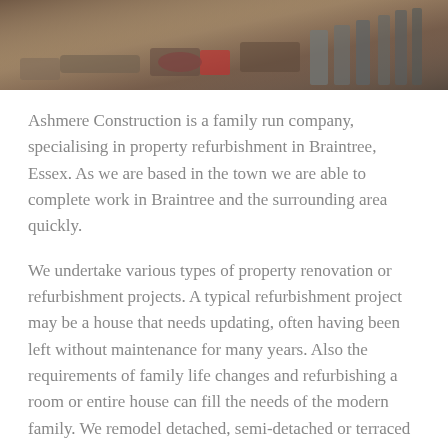[Figure (photo): Construction site photo showing tools, equipment, and building materials on a floor, partially cropped at top of page]
Ashmere Construction is a family run company, specialising in property refurbishment in Braintree, Essex. As we are based in the town we are able to complete work in Braintree and the surrounding area quickly.
We undertake various types of property renovation or refurbishment projects. A typical refurbishment project may be a house that needs updating, often having been left without maintenance for many years. Also the requirements of family life changes and refurbishing a room or entire house can fill the needs of the modern family. We remodel detached, semi-detached or terraced houses to adapt to your family needs. This might involve new living areas and working space which we can often create by alterations to existing walls and windows in your home. Our property